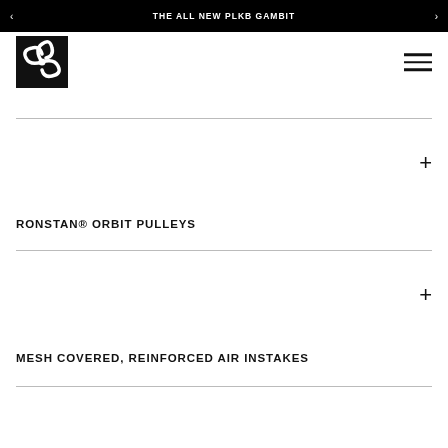THE ALL NEW PLKB GAMBIT
[Figure (logo): PLKB logo — black square with white swirl/wave design]
RONSTAN® ORBIT PULLEYS
MESH COVERED, REINFORCED AIR INSTAKES